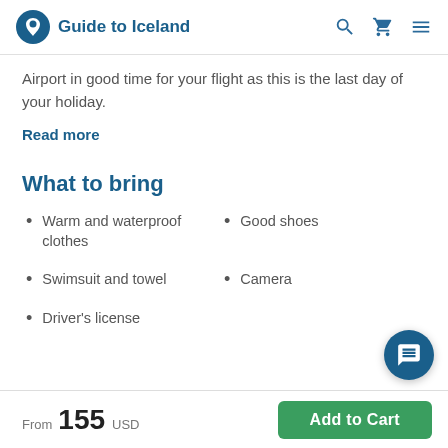Guide to Iceland
Airport in good time for your flight as this is the last day of your holiday.
Read more
What to bring
Warm and waterproof clothes
Good shoes
Swimsuit and towel
Camera
Driver's license
From 155 USD  Add to Cart